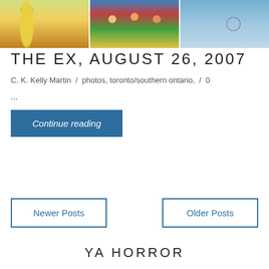[Figure (photo): Three photos side by side: a corn display at a fair, colorful costumed dolls/puppets, and a ferris wheel against blue sky]
THE EX, AUGUST 26, 2007
C. K. Kelly Martin  /  photos, toronto/southern ontario,  /  0
...
Continue reading
Newer Posts
Older Posts
YA HORROR